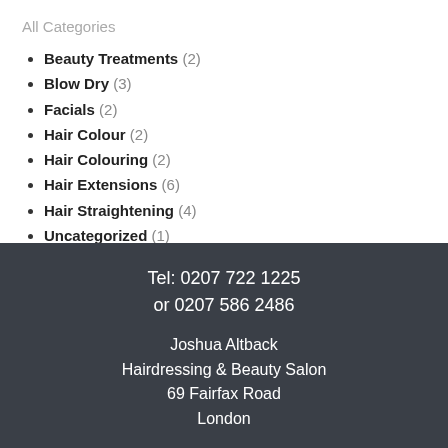All Categories
Beauty Treatments (2)
Blow Dry (3)
Facials (2)
Hair Colour (2)
Hair Colouring (2)
Hair Extensions (6)
Hair Straightening (4)
Uncategorized (1)
Tel: 0207 722 1225
or 0207 586 2486
Joshua Altback
Hairdressing & Beauty Salon
69 Fairfax Road
London